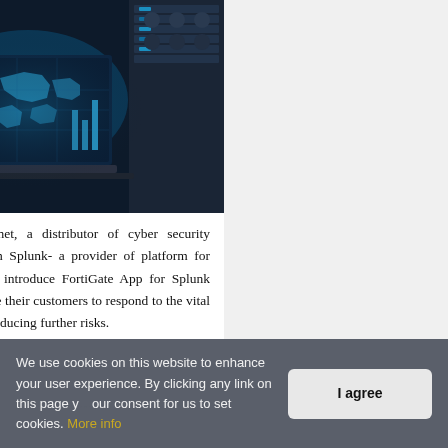[Figure (photo): Dark data center server room with blue glowing screens and a laptop displaying a world map with network graphics overlay]
SUNNYVALE, CA: Fortinet, a distributor of cyber security solutions is partnering with Splunk- a provider of platform for Operational Intelligence to introduce FortiGate App for Splunk Enterprise which will enable their customers to respond to the vital and time sensitive threats, reducing further risks.
We use cookies on this website to enhance your user experience. By clicking any link on this page you are giving your consent for us to set cookies. More info